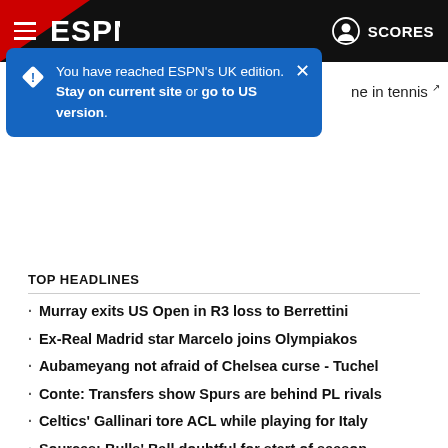ESPN - SCORES
You have reached ESPN's UK edition. Stay on current site or go to US version.
ne in tennis
TOP HEADLINES
Murray exits US Open in R3 loss to Berrettini
Ex-Real Madrid star Marcelo joins Olympiakos
Aubameyang not afraid of Chelsea curse - Tuchel
Conte: Transfers show Spurs are behind PL rivals
Celtics' Gallinari tore ACL while playing for Italy
Sources: Bulls' Ball doubtful for start of season
'Out of shape' Ngannou targets early '23 return
CFP board decides on 12-team playoff format